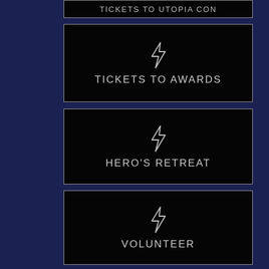[Figure (infographic): Partially visible black card with white border and text 'TICKETS TO UTOPIA CON' with lightning bolt icon, cut off at top of page]
[Figure (infographic): Black card with white border, lightning bolt icon and text 'TICKETS TO AWARDS' on dark navy background]
[Figure (infographic): Black card with white border, lightning bolt icon and text 'HERO'S RETREAT' on dark navy background]
[Figure (infographic): Black card with white border, lightning bolt icon and text 'VOLUNTEER' on dark navy background]